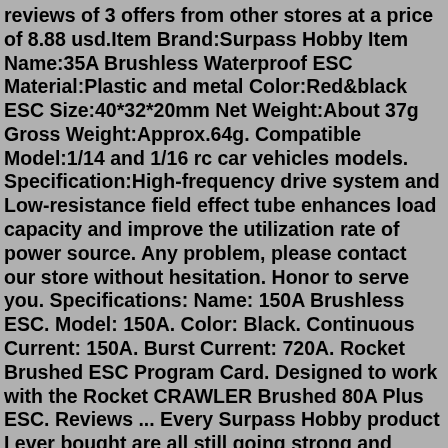reviews of 3 offers from other stores at a price of 8.88 usd.Item Brand:Surpass Hobby Item Name:35A Brushless Waterproof ESC Material:Plastic and metal Color:Red&black ESC Size:40*32*20mm Net Weight:About 37g Gross Weight:Approx.64g. Compatible Model:1/14 and 1/16 rc car vehicles models. Specification:High-frequency drive system and Low-resistance field effect tube enhances load capacity and improve the utilization rate of power source. Any problem, please contact our store without hesitation. Honor to serve you. Specifications: Name: 150A Brushless ESC. Model: 150A. Color: Black. Continuous Current: 150A. Burst Current: 720A. Rocket Brushed ESC Program Card. Designed to work with the Rocket CRAWLER Brushed 80A Plus ESC. Reviews ... Every Surpass Hobby product I ever bought are all still going strong and performing better than anything from other brands! Related Products; Customers Also Viewed; Back in Stock Soon. Rocket 13T 540 Plus Brushed Crawler Motor and 80Amp ...LED Program Card. 30501003. Add to cart. MAP